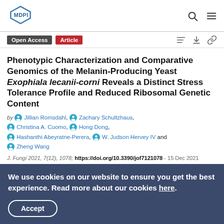MDPI
Phenotypic Characterization and Comparative Genomics of the Melanin-Producing Yeast Exophiala lecanii-corni Reveals a Distinct Stress Tolerance Profile and Reduced Ribosomal Genetic Content
by Jillian Romsdahl, Zachary Schultzhaus, Christina A. Cuomo, Hong Dong, Hashanthi Abeyratne-Perera, W. Judson Hervey IV and Zheng Wang
J. Fungi 2021, 7(12), 1078; https://doi.org/10.3390/jof7121078 - 15 Dec 2021
We use cookies on our website to ensure you get the best experience. Read more about our cookies here. Accept